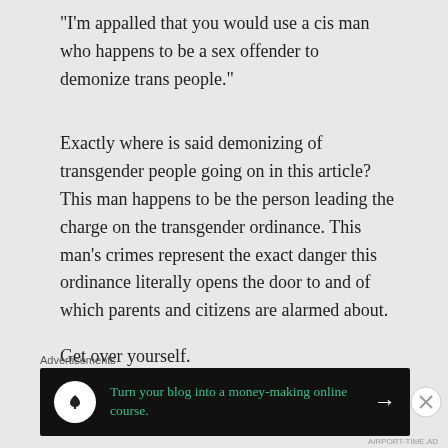“I’m appalled that you would use a cis man who happens to be a sex offender to demonize trans people.”
Exactly where is said demonizing of transgender people going on in this article? This man happens to be the person leading the charge on the transgender ordinance. This man’s crimes represent the exact danger this ordinance literally opens the door to and of which parents and citizens are alarmed about.

Get over yourself.
Advertisements
[Figure (other): Advertisement banner with dark background showing a white circular icon with a person/tree silhouette, green text reading 'Turn your blog into a money-making online course.' with a white arrow pointing right.]